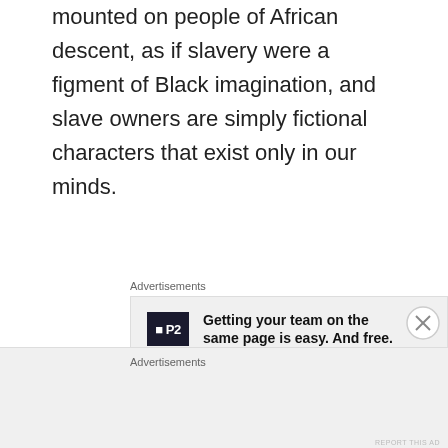mounted on people of African descent, as if slavery were a figment of Black imagination, and slave owners are simply fictional characters that exist only in our minds.
[Figure (other): Advertisement banner for P2 - 'Getting your team on the same page is easy. And free.']
It's the same travesty as schools in Texas and Massachusetts seeking to rewrite history books to make slavery appear less brutal. It's the same as
[Figure (other): Bottom Advertisements bar with close button]